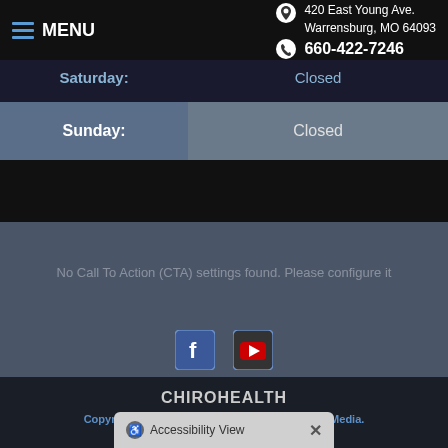MENU | 420 East Young Ave. Warrensburg, MO 64093 | 660-422-7246
| Day | Hours |
| --- | --- |
| Saturday: | Closed |
| Sunday: | Closed |
No Call To Action (CTA) settings found. Please configure it
[Figure (other): Facebook and YouTube social media icons]
CHIROHEALTH
Copyright © 2022 MH Sub I, LLC dba Baystone Media.
Admin Log In
ACA Notices
Site Map
Accessibility View